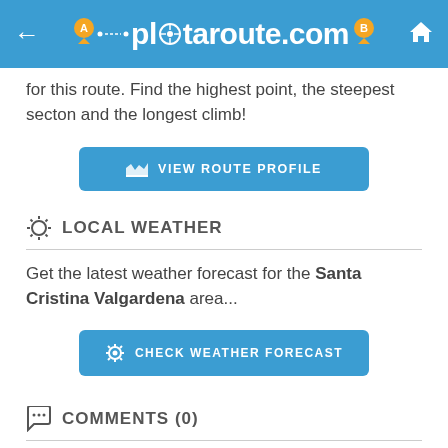plotaroute.com
for this route. Find the highest point, the steepest secton and the longest climb!
[Figure (other): Blue button: VIEW ROUTE PROFILE with mountain/chart icon]
LOCAL WEATHER
Get the latest weather forecast for the Santa Cristina Valgardena area...
[Figure (other): Blue button: CHECK WEATHER FORECAST with gear icon]
COMMENTS (0)